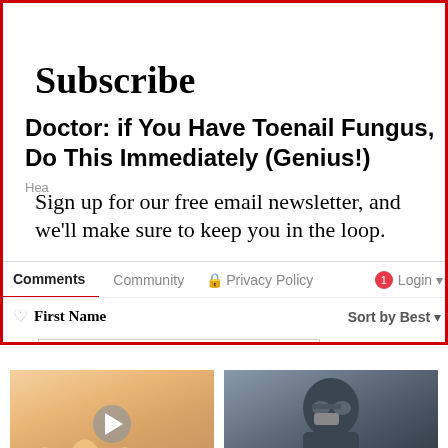[Figure (screenshot): Website overlay with red border showing Subscribe modal with email newsletter signup text, navigation bar with Comments, Community, Privacy Policy, Login, and sort/filter bar with First Name and Sort by Best, plus promoted content bar]
Subscribe
Doctor: if You Have Toenail Fungus, Do This Immediately (Genius!)
Sign up for our free email newsletter, and we'll make sure to keep you in the loop.
Comments   Community   Privacy Policy   Login
First Name   Sort by Best
Promoted X
[Figure (illustration): Illustration of feet/toes with play button overlay]
One Bite of This Keeps Blood Sugar Below 100 (Try Tonight)
6,468
[Figure (photo): Photo of person in hazmat suit/gas mask]
More Camp Lejeune Claims Are Now Being Accepted
1,283